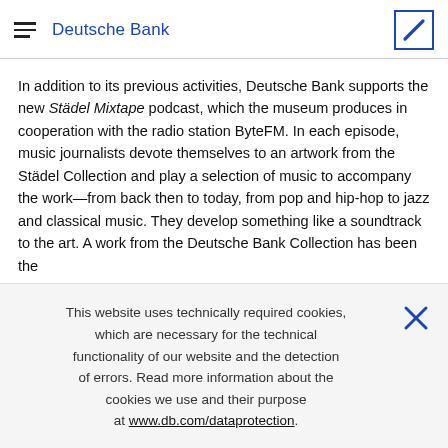Deutsche Bank
In addition to its previous activities, Deutsche Bank supports the new Städel Mixtape podcast, which the museum produces in cooperation with the radio station ByteFM. In each episode, music journalists devote themselves to an artwork from the Städel Collection and play a selection of music to accompany the work—from back then to today, from pop and hip-hop to jazz and classical music. They develop something like a soundtrack to the art. A work from the Deutsche Bank Collection has been the
This website uses technically required cookies, which are necessary for the technical functionality of our website and the detection of errors. Read more information about the cookies we use and their purpose at www.db.com/dataprotection.